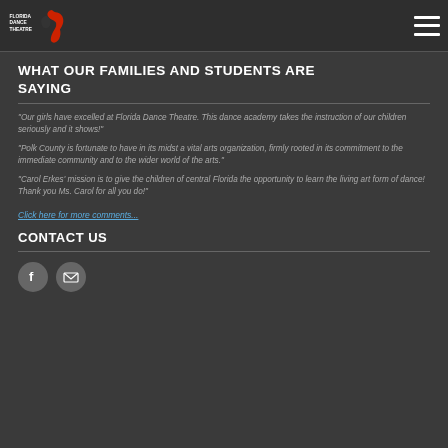Florida Dance Theatre
WHAT OUR FAMILIES AND STUDENTS ARE SAYING
"Our girls have excelled at Florida Dance Theatre. This dance academy takes the instruction of our children seriously and it shows!"
"Polk County is fortunate to have in its midst a vital arts organization, firmly rooted in its commitment to the immediate community and to the wider world of the arts."
"Carol Erkes' mission is to give the children of central Florida the opportunity to learn the living art form of dance! Thank you Ms. Carol for all you do!"
Click here for more comments...
CONTACT US
[Figure (other): Facebook icon circle and email envelope icon circle]